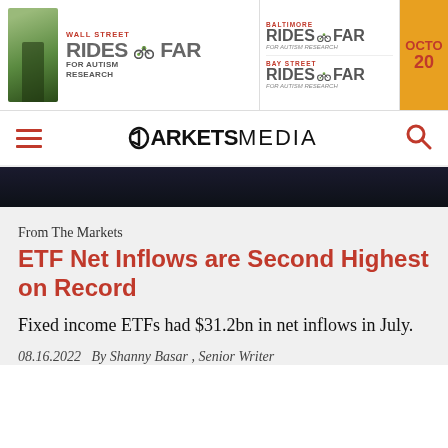[Figure (photo): Banner advertisement for Wall Street Rides Far for Autism Research, Baltimore Rides Far, and Bay Street Rides Far events, with an orange section showing 'Octo 20']
MARKETS MEDIA
[Figure (photo): Dark image strip, partial view of a dark background photo]
From The Markets
ETF Net Inflows are Second Highest on Record
Fixed income ETFs had $31.2bn in net inflows in July.
08.16.2022   By Shanny Basar , Senior Writer